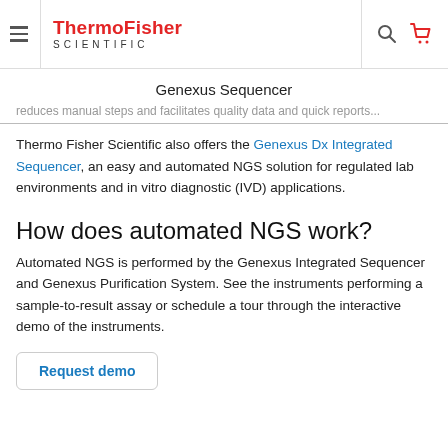ThermoFisher SCIENTIFIC
Genexus Sequencer
...reduces manual steps and facilitates quality data and quick reports...
Thermo Fisher Scientific also offers the Genexus Dx Integrated Sequencer, an easy and automated NGS solution for regulated lab environments and in vitro diagnostic (IVD) applications.
How does automated NGS work?
Automated NGS is performed by the Genexus Integrated Sequencer and Genexus Purification System. See the instruments performing a sample-to-result assay or schedule a tour through the interactive demo of the instruments.
Request demo